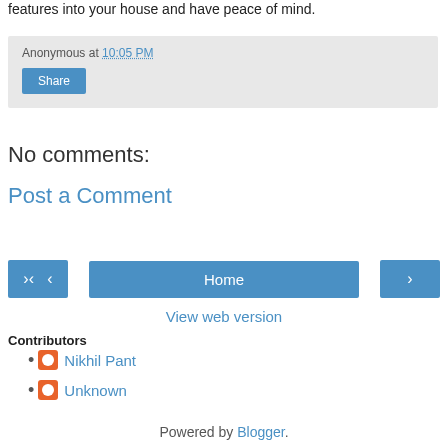features into your house and have peace of mind.
Anonymous at 10:05 PM
Share
No comments:
Post a Comment
‹
Home
›
View web version
Contributors
Nikhil Pant
Unknown
Powered by Blogger.